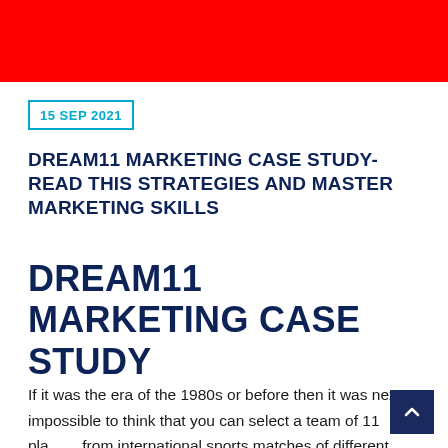[Figure (other): Red banner background at top of page]
15 SEP 2021
DREAM11 MARKETING CASE STUDY- READ THIS STRATEGIES AND MASTER MARKETING SKILLS
DREAM11 MARKETING CASE STUDY
If it was the era of the 1980s or before then it was next to impossible to think that you can select a team of 11 players from international sports matches of different sports and earn